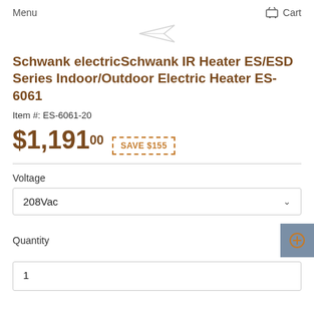Menu   Cart
[Figure (logo): Small paper airplane logo icon in gray]
Schwank electricSchwank IR Heater ES/ESD Series Indoor/Outdoor Electric Heater ES-6061
Item #: ES-6061-20
$1,191.00  SAVE $155
Voltage
208Vac
Quantity
1